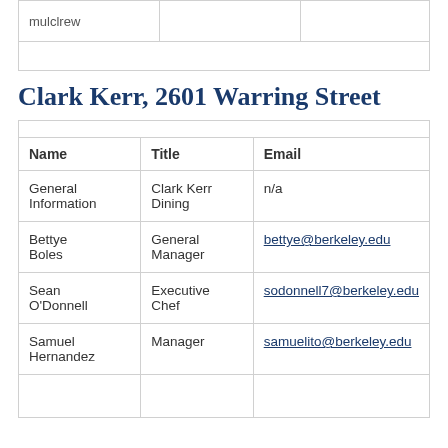| mulclrew |  |  |
Clark Kerr, 2601 Warring Street
| Name | Title | Email |
| --- | --- | --- |
| General Information | Clark Kerr Dining | n/a |
| Bettye Boles | General Manager | bettye@berkeley.edu |
| Sean O'Donnell | Executive Chef | sodonnell7@berkeley.edu |
| Samuel Hernandez | Manager | samuelito@berkeley.edu |
|  |  |  |